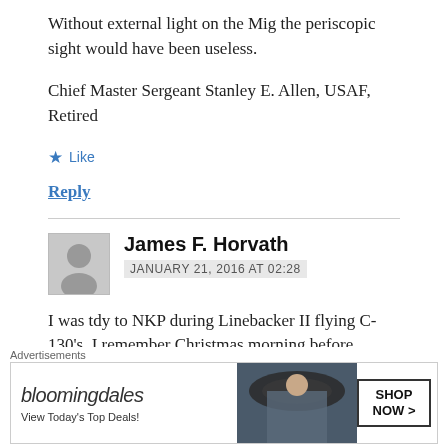Without external light on the Mig the periscopic sight would have been useless.
Chief Master Sergeant Stanley E. Allen, USAF, Retired
★ Like
Reply
James F. Horvath
JANUARY 21, 2016 AT 02:28
I was tdy to NKP during Linebacker II flying C-130's. I remember Christmas morning before
[Figure (illustration): Bloomingdales advertisement banner with woman in wide-brim hat and SHOP NOW button]
Advertisements